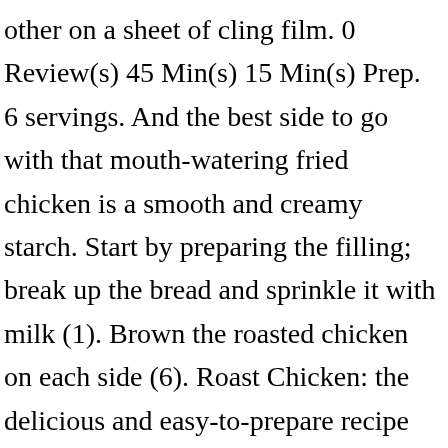other on a sheet of cling film. 0 Review(s) 45 Min(s) 15 Min(s) Prep. 6 servings. And the best side to go with that mouth-watering fried chicken is a smooth and creamy starch. Start by preparing the filling; break up the bread and sprinkle it with milk (1). Brown the roasted chicken on each side (6). Roast Chicken: the delicious and easy-to-prepare recipe enriched with mashed potatoes, Mash the potatoes and cover them with salami: a rich, excellent side dish. (See my mashed potato recipe if you are not sure). If you want the top to be